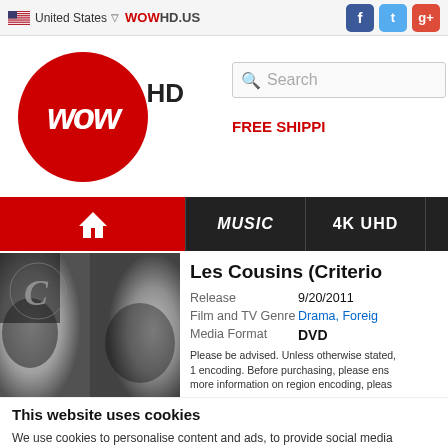United States   WOWHD.US
[Figure (logo): WOW HD logo — red circle with white italic 'wow' text and 'HD' in black to the right]
Search
FREE SHIPPI
[Figure (screenshot): Navigation bar with home icon (red background), MUSIC and 4K UHD tabs (dark background)]
[Figure (photo): Black and white film still showing two men's faces, with a Criterion 'C' logo overlay in top-left]
Les Cousins (Criterio
Release   9/20/2011
Film and TV Genre   Drama, Foreig
Media Format   DVD
Please be advised. Unless otherwise stated, 1 encoding. Before purchasing, please ens more information on region encoding, pleas
This website uses cookies
We use cookies to personalise content and ads, to provide social media